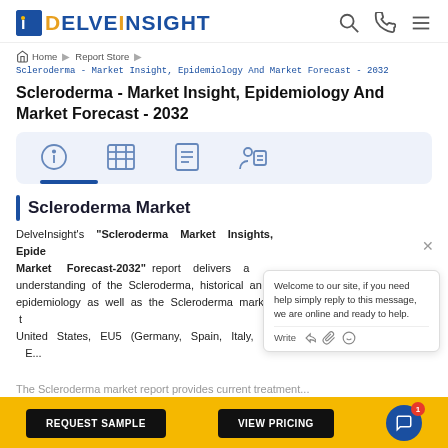[Figure (logo): DelveInsight logo with blue 'i' icon]
Home > Report Store > Scleroderma - Market Insight, Epidemiology And Market Forecast - 2032
Scleroderma - Market Insight, Epidemiology And Market Forecast - 2032
[Figure (infographic): Tab card with four icons: info, table/grid, document, person with note]
Scleroderma Market
DelveInsight's "Scleroderma Market Insights, Epidemiology And Market Forecast-2032" report delivers a understanding of the Scleroderma, historical and epidemiology as well as the Scleroderma market t United States, EU5 (Germany, Spain, Italy, Fr... Kingdom...
The Scleroderma market report provides current treatment...